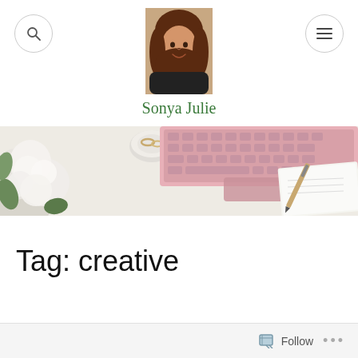Sonya Julie
[Figure (photo): Profile photo of Sonya Julie, a woman with shoulder-length brown hair, smiling, wearing a dark jacket]
[Figure (photo): Lifestyle blog banner image showing white roses, a pink laptop keyboard, rings in a bowl, and a notepad with pen on a white surface]
Tag: creative
Follow ...